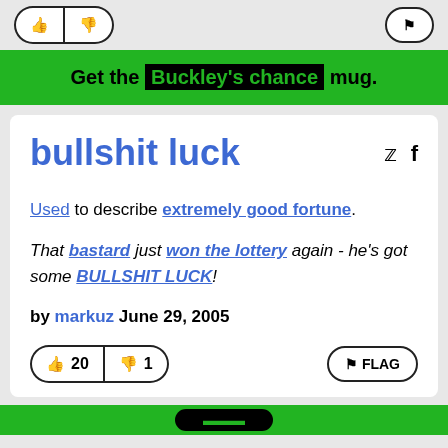[Figure (screenshot): Top partial vote buttons row with thumbs up and thumbs down buttons visible at top, and a flag button on right]
Get the Buckley's chance mug.
bullshit luck
Used to describe extremely good fortune.
That bastard just won the lottery again - he's got some BULLSHIT LUCK!
by markuz June 29, 2005
20 thumbs up, 1 thumbs down, FLAG